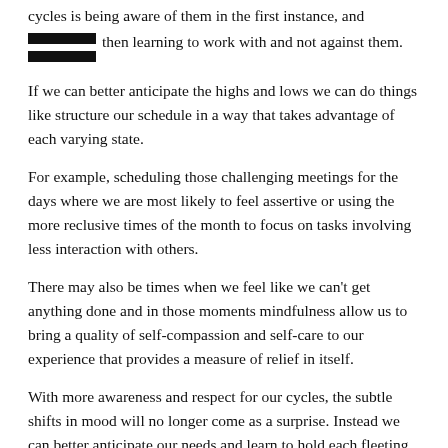cycles is being aware of them in the first instance, and then learning to work with and not against them.
If we can better anticipate the highs and lows we can do things like structure our schedule in a way that takes advantage of each varying state.
For example, scheduling those challenging meetings for the days where we are most likely to feel assertive or using the more reclusive times of the month to focus on tasks involving less interaction with others.
There may also be times when we feel like we can't get anything done and in those moments mindfulness allow us to bring a quality of self-compassion and self-care to our experience that provides a measure of relief in itself.
With more awareness and respect for our cycles, the subtle shifts in mood will no longer come as a surprise. Instead we can better anticipate our needs and learn to hold each fleeting state of mind more lightly, as we go with the flow.